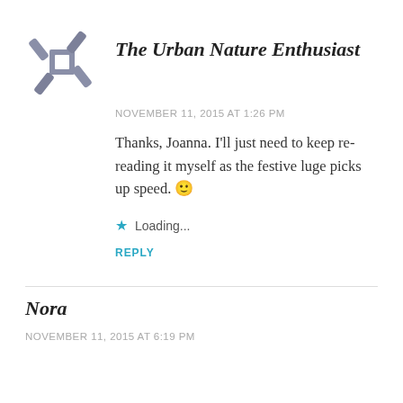[Figure (logo): Abstract geometric logo made of interlocking gray/slate colored angular shapes forming a square-like pattern]
The Urban Nature Enthusiast
NOVEMBER 11, 2015 AT 1:26 PM
Thanks, Joanna. I'll just need to keep re-reading it myself as the festive luge picks up speed. 🙂
Loading...
REPLY
Nora
NOVEMBER 11, 2015 AT 6:19 PM